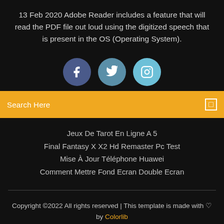13 Feb 2020 Adobe Reader includes a feature that will read the PDF file out loud using the digitized speech that is present in the OS (Operating System).
[Figure (infographic): Three social media icon circles: Facebook (dark blue), Twitter (medium blue), Instagram (light blue)]
Search Here
Jeux De Tarot En Ligne A 5
Final Fantasy X X2 Hd Remaster Pc Test
Mise À Jour Téléphone Huawei
Comment Mettre Fond Ecran Double Ecran
Copyright ©2022 All rights reserved | This template is made with ♡ by Colorlib